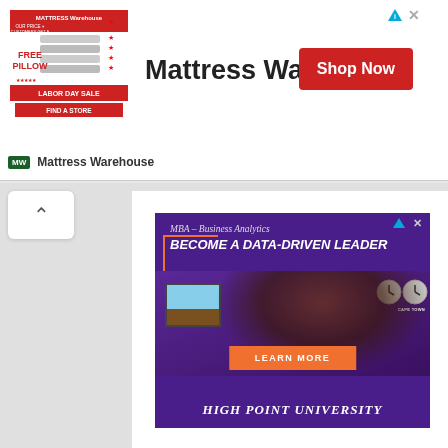[Figure (advertisement): Mattress Warehouse banner ad with logo, 'Mattress Warehouse' text, and red 'Shop Now' button]
Mattress Warehouse
[Figure (advertisement): High Point University MBA Business Analytics ad on purple background with 'BECOME A DATA-DRIVEN LEADER', woman photo, clocks, orange LEARN MORE button, and 'HIGH POINT UNIVERSITY' text]